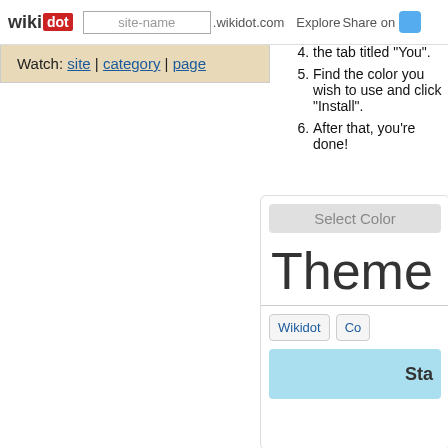wikidot | site-name .wikidot.com | Explore | Share on [Twitter]
Watch: site | category | page
4. the tab titled "You".
5. Find the color you wish to use and click "Install".
6. After that, you're done!
[Figure (screenshot): A UI panel showing 'Select Color' header, 'Theme' large text, 'Wikidot' and 'Co' tab buttons, and a light blue bar with 'Sta' text]